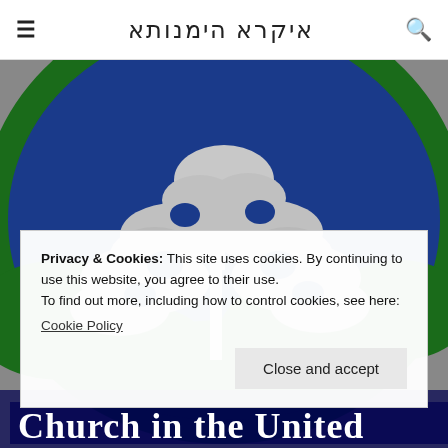≡  ܐܝܩܪܐ ܗܝܡܢܘܬܐ  🔍
[Figure (illustration): Close-up of a circular emblem/logo featuring a white cedar tree against a blue background with green foliage, suggesting a Lebanese or Middle Eastern church organization seal.]
Privacy & Cookies: This site uses cookies. By continuing to use this website, you agree to their use.
To find out more, including how to control cookies, see here:
Cookie Policy
Close and accept
Church in the United